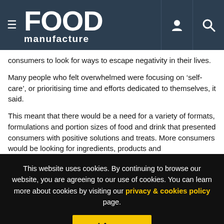FOOD manufacture
consumers to look for ways to escape negativity in their lives.
Many people who felt overwhelmed were focusing on ‘self-care’, or prioritising time and efforts dedicated to themselves, it said.
This meant that there would be a need for a variety of formats, formulations and portion sizes of food and drink that presented consumers with positive solutions and treats. More consumers would be looking for ingredients, products and
This website uses cookies. By continuing to browse our website, you are agreeing to our use of cookies. You can learn more about cookies by visiting our privacy & cookies policy page.
I Agree